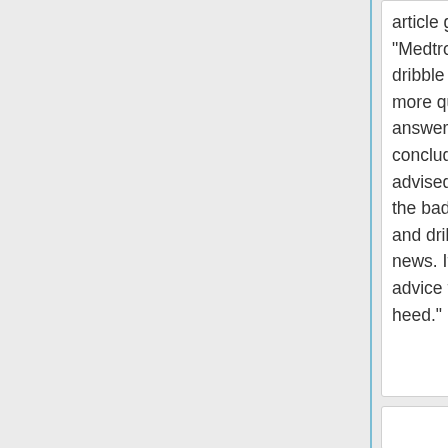article goes on to say, "Medtronic continues to dribble out details that raise more questions than answers." The article concludes with "Machiavelli advised his prince to get all the bad news out at once and dribble out the good news. It would be good advice for Medtronic to heed."
article goes on to say, "Medtronic continues to dribble out details that raise more questions than answers." The article concludes with "Machiavelli advised his prince to get all the bad news out at once and dribble out the good news. It would be good advice for Medtronic to heed."